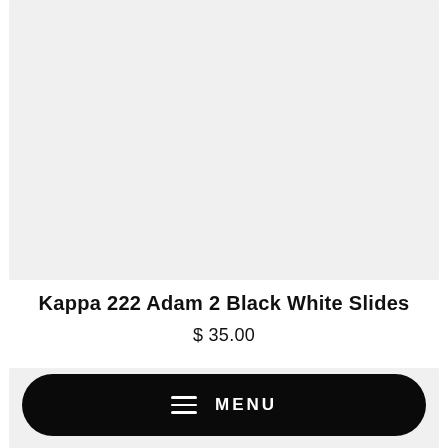[Figure (photo): Product image placeholder — light gray rectangle for Kappa 222 Adam 2 Black White Slides]
Kappa 222 Adam 2 Black White Slides
$35.00
[Figure (photo): Second product image placeholder — light gray rectangle, partially visible]
≡ MENU